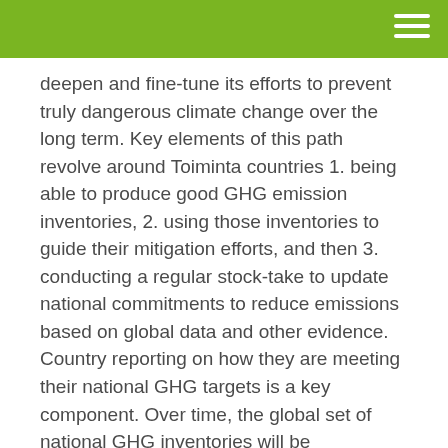deepen and fine-tune its efforts to prevent truly dangerous climate change over the long term. Key elements of this path revolve around Toiminta countries 1. being able to produce good GHG emission inventories, 2. using those inventories to guide their mitigation efforts, and then 3. conducting a regular stock-take to update national commitments to reduce emissions based on global data and other evidence. Country reporting on how they are meeting their national GHG targets is a key component. Over time, the global set of national GHG inventories will be increasingly necessary to see if the planet is on track in avoiding the worst impacts from the worst climate futures.
Many of the Paris Agreement's core elements are part of GHGMI's very DNA. Underneath the urgency of tackling climate change is a necessary long-term approach to